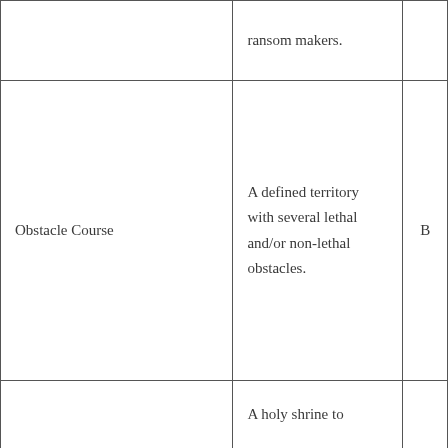|  | ransom makers. |  |
| Obstacle Course | A defined territory with several lethal and/or non-lethal obstacles. | B |
|  | A holy shrine to |  |